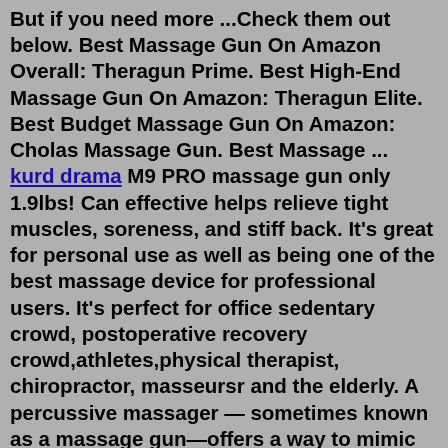But if you need more ...Check them out below. Best Massage Gun On Amazon Overall: Theragun Prime. Best High-End Massage Gun On Amazon: Theragun Elite. Best Budget Massage Gun On Amazon: Cholas Massage Gun. Best Massage ... kurd drama M9 PRO massage gun only 1.9lbs! Can effective helps relieve tight muscles, soreness, and stiff back. It's great for personal use as well as being one of the best massage device for professional users. It's perfect for office sedentary crowd, postoperative recovery crowd,athletes,physical therapist, chiropractor, masseursr and the elderly. A percussive massager — sometimes known as a massage gun—offers a way to mimic the pressure or force you might get from a deep tissue massage. And you can use one from your own home, without needing...This article is sponsored by Urikar. Urikar just released their brand-new percussion gun, the Pro 3. This massage gun uses a high-torque brushless motor equipped with its QuietPower™ 2.0 ...Jul 28, 2022 · VYBE Percussion Massage Gun - Pro Model -Muscle Deep Tissue